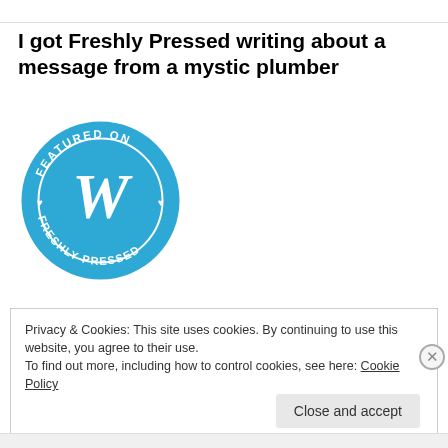I got Freshly Pressed writing about a message from a mystic plumber
[Figure (logo): WordPress 'Featured on Freshly Pressed' circular badge in blue with white WordPress W logo in the center, surrounded by text reading FEATURED ON at the top and FRESHLY PRESSED at the bottom, with small heart symbols on either side.]
Privacy & Cookies: This site uses cookies. By continuing to use this website, you agree to their use.
To find out more, including how to control cookies, see here: Cookie Policy
Close and accept